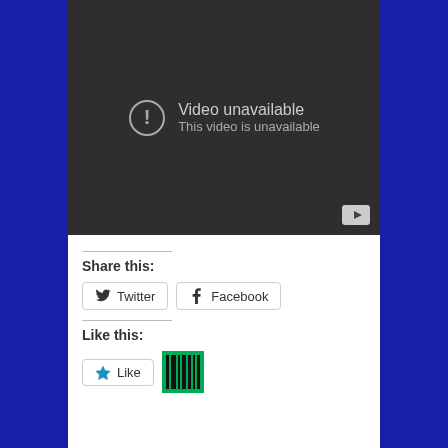[Figure (screenshot): Embedded video player showing 'Video unavailable / This video is unavailable' error message with a YouTube play button in the bottom-right corner. Dark background (#2e2e2e).]
Share this:
[Figure (infographic): Two share buttons: Twitter (with bird icon) and Facebook (with f icon), both outlined buttons.]
Like this:
[Figure (infographic): Like button with star icon and text 'Like', alongside a green barcode/loading spinner graphic.]